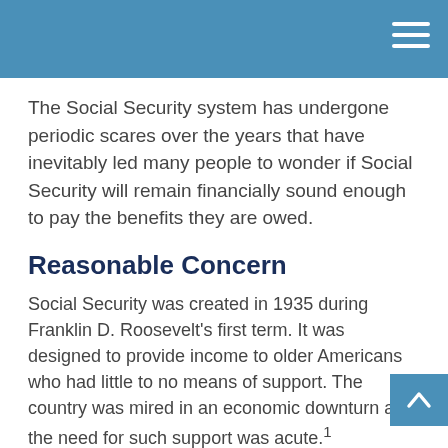The Social Security system has undergone periodic scares over the years that have inevitably led many people to wonder if Social Security will remain financially sound enough to pay the benefits they are owed.
Reasonable Concern
Social Security was created in 1935 during Franklin D. Roosevelt's first term. It was designed to provide income to older Americans who had little to no means of support. The country was mired in an economic downturn and the need for such support was acute.¹
Since its creation, there have been three basic developments that have led to the financial challenges Social Security faces today.
1. The number of workers paying into the system...